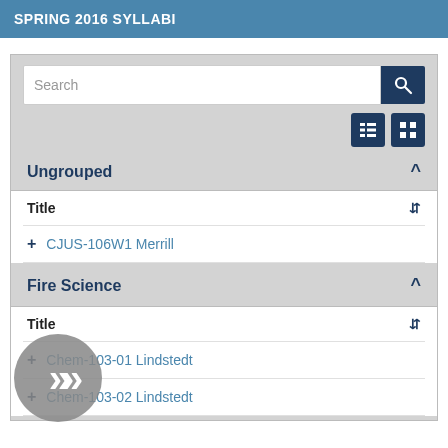SPRING 2016 SYLLABI
[Figure (screenshot): Search bar with text input field and dark blue search button with magnifying glass icon, followed by list/grid view toggle icons]
Ungrouped
Title
+ CJUS-106W1 Merrill
Fire Science
Title
+ Chem-103-01 Lindstedt
+ Chem-103-02 Lindstedt